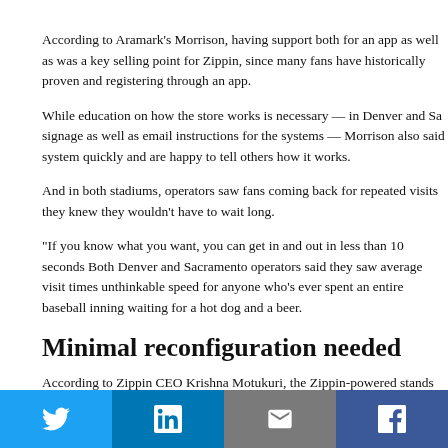According to Aramark's Morrison, having support both for an app as well as was a key selling point for Zippin, since many fans have historically proven and registering through an app.
While education on how the store works is necessary — in Denver and Sa signage as well as email instructions for the systems — Morrison also said system quickly and are happy to tell others how it works.
And in both stadiums, operators saw fans coming back for repeated visits they knew they wouldn't have to wait long.
“If you know what you want, you can get in and out in less than 10 seconds Both Denver and Sacramento operators said they saw average visit times unthinkable speed for anyone who's ever spent an entire baseball inning waiting for a hot dog and a beer.
Minimal reconfiguration needed
According to Zippin CEO Krishna Motukuri, the Zippin-powered stands do networking support. The camera systems, he said, only use about 15-to-20 and the AI computations are done on the edge modules Zippin installs on t
[Figure (other): Social share bar with Twitter, LinkedIn, Email, and Facebook buttons]